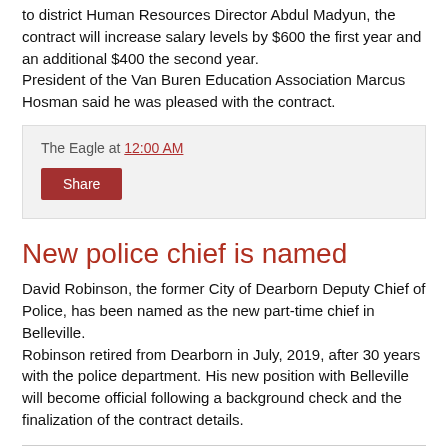to district Human Resources Director Abdul Madyun, the contract will increase salary levels by $600 the first year and an additional $400 the second year.
President of the Van Buren Education Association Marcus Hosman said he was pleased with the contract.
The Eagle at 12:00 AM
Share
New police chief is named
David Robinson, the former City of Dearborn Deputy Chief of Police, has been named as the new part-time chief in Belleville.
Robinson retired from Dearborn in July, 2019, after 30 years with the police department. His new position with Belleville will become official following a background check and the finalization of the contract details.